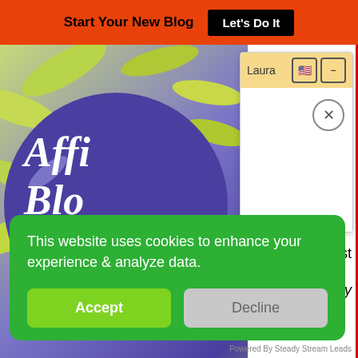Start Your New Blog  Let's Do It
[Figure (screenshot): Blog cover image with purple tropical leaf background and large white italic text reading 'Affi... Blo...' partially visible]
[Figure (screenshot): Chat popup widget with orange/yellow header labeled 'Laura', US flag icon, minimize button, and X close button]
This website uses cookies to enhance your experience & analyze data.
Accept
Decline
Powered By Steady Stream Leads